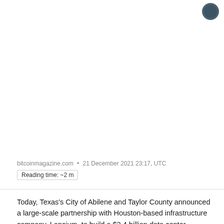[Figure (logo): Circular dark grey icon in top right corner]
bitcoinmagazine.com • 21 December 2021 23:17, UTC
Reading time: ~2 m
Today, Texas's City of Abilene and Taylor County announced a large-scale partnership with Houston-based infrastructure company, Lancium, to build a $2.4 billion data center campus, per a press release sent to Bitcoin Magazine.
The data center campus, which will be powered by renewable